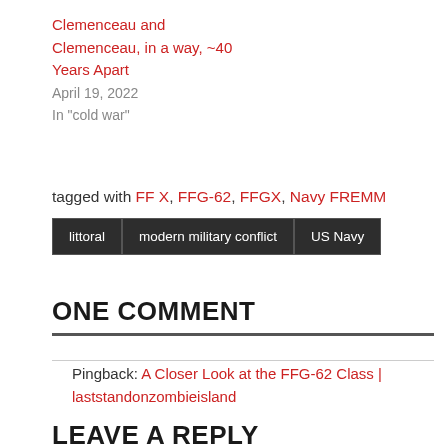Clemenceau and Clemenceau, in a way, ~40 Years Apart
April 19, 2022
In "cold war"
tagged with FF X, FFG-62, FFGX, Navy FREMM
| littoral | modern military conflict | US Navy |
ONE COMMENT
Pingback: A Closer Look at the FFG-62 Class | laststandonzombieisland
LEAVE A REPLY